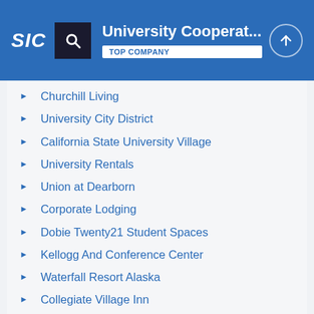University Cooperat... TOP COMPANY
Churchill Living
University City District
California State University Village
University Rentals
Union at Dearborn
Corporate Lodging
Dobie Twenty21 Student Spaces
Kellogg And Conference Center
Waterfall Resort Alaska
Collegiate Village Inn
See More Competitors